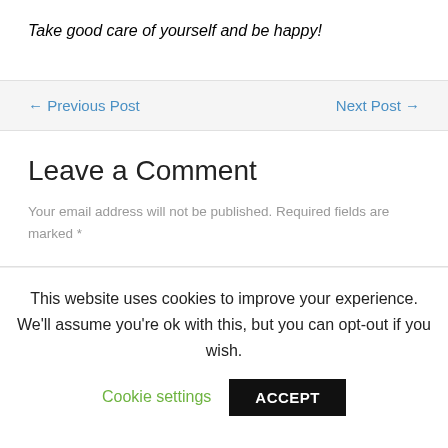Take good care of yourself and be happy!
← Previous Post
Next Post →
Leave a Comment
Your email address will not be published. Required fields are marked *
This website uses cookies to improve your experience. We'll assume you're ok with this, but you can opt-out if you wish.
Cookie settings
ACCEPT